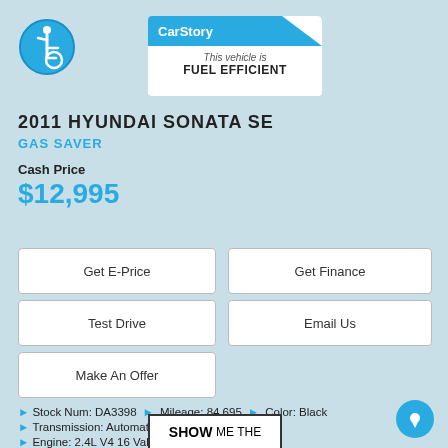[Figure (logo): Accessibility icon — blue circle with white wheelchair user symbol]
[Figure (logo): CarStory badge with blue header and text: This vehicle is FUEL EFFICIENT]
2011 HYUNDAI SONATA SE
GAS SAVER
Cash Price
$12,995
Get E-Price
Get Finance
Test Drive
Email Us
Make An Offer
▶ Stock Num: DA3398   ▶ Mileage: 84,695   ▶ Color: Black
▶ Transmission: Automatic
▶ Engine: 2.4L V4 16 Valve 200HP DOHC
[Figure (logo): SHOW ME THE badge at bottom center]